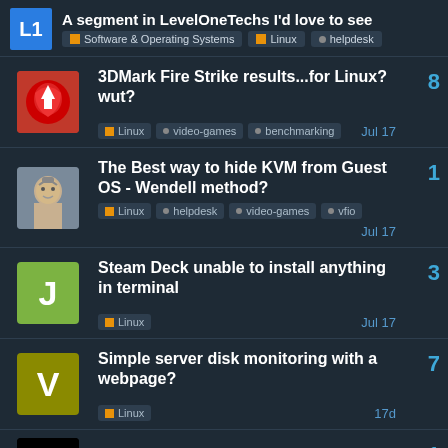A segment in LevelOneTechs I'd love to see | Software & Operating Systems | Linux | helpdesk
3DMark Fire Strike results...for Linux? wut? | Linux | video-games | benchmarking | 8 | Jul 17
The Best way to hide KVM from Guest OS - Wendell method? | Linux | helpdesk | video-games | vfio | 1 | Jul 17
Steam Deck unable to install anything in terminal | Linux | 3 | Jul 17
Simple server disk monitoring with a webpage? | Linux | 7 | 17d
Weird dmesg Errors, Perhaps causing the Lag? | 1